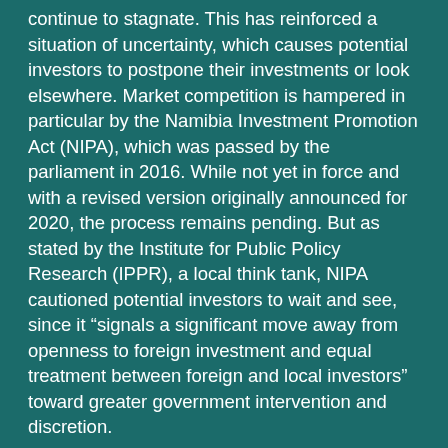continue to stagnate. This has reinforced a situation of uncertainty, which causes potential investors to postpone their investments or look elsewhere. Market competition is hampered in particular by the Namibia Investment Promotion Act (NIPA), which was passed by the parliament in 2016. While not yet in force and with a revised version originally announced for 2020, the process remains pending. But as stated by the Institute for Public Policy Research (IPPR), a local think tank, NIPA cautioned potential investors to wait and see, since it “signals a significant move away from openness to foreign investment and equal treatment between foreign and local investors” toward greater government intervention and discretion.
Similarly, the National Equitable Economic Empowerment Framework (NEEEF), which has been under discussion since the early 2000s and modified several times, was endorsed by the cabinet in February 2020 but has not yet been passed by the parliament. However, while the modified NEEEF would ease some earlier clauses, including the enforcement of a 25% local ownership (equity) requirement on every foreign company operating locally, its defined empowerment pillars allow similar